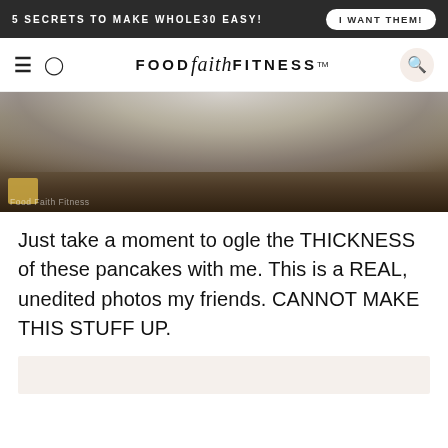5 SECRETS TO MAKE WHOLE30 EASY! | I WANT THEM!
FOOD faith FITNESS
[Figure (photo): Close-up photo of thick pancakes on a plate, partially cropped, showing the edge and thickness of the pancakes against a dark background. Watermark 'Food Faith Fitness' visible in bottom left.]
Just take a moment to ogle the THICKNESS of these pancakes with me. This is a REAL, unedited photos my friends. CANNOT MAKE THIS STUFF UP.